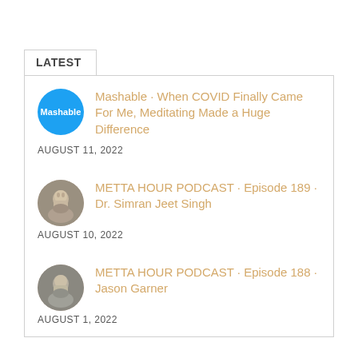LATEST
Mashable · When COVID Finally Came For Me, Meditating Made a Huge Difference
AUGUST 11, 2022
METTA HOUR PODCAST · Episode 189 · Dr. Simran Jeet Singh
AUGUST 10, 2022
METTA HOUR PODCAST · Episode 188 · Jason Garner
AUGUST 1, 2022